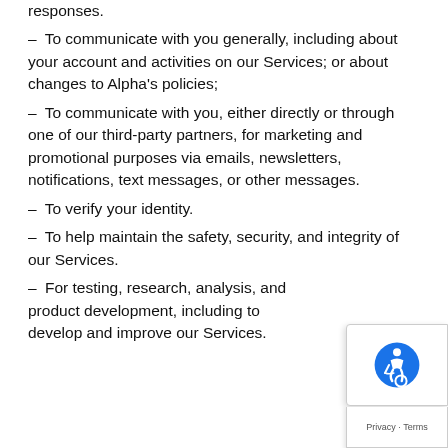responses.
– To communicate with you generally, including about your account and activities on our Services; or about changes to Alpha's policies;
– To communicate with you, either directly or through one of our third-party partners, for marketing and promotional purposes via emails, newsletters, notifications, text messages, or other messages.
– To verify your identity.
– To help maintain the safety, security, and integrity of our Services.
– For testing, research, analysis, and product development, including to develop and improve our Services.